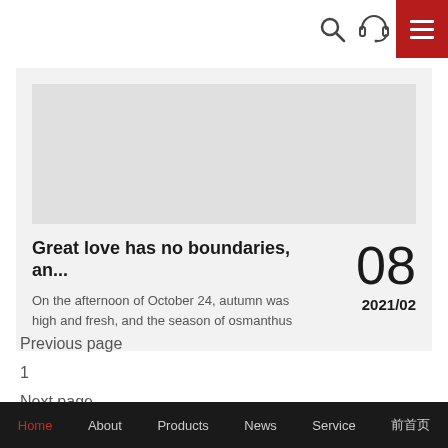Navigation bar with search icon, headset icon, and red hamburger menu button
[Figure (screenshot): Article card with grey background. Contains a light grey image placeholder at top, then title 'Great love has no boundaries, an...' with excerpt text and date '08 / 2021/02' on the right.]
Great love has no boundaries, an...
On the afternoon of October 24, autumn was high and fresh, and the season of osmanthus
08
2021/02
Previous page
1
Next page
Home  About  Products  News  Service  前首页